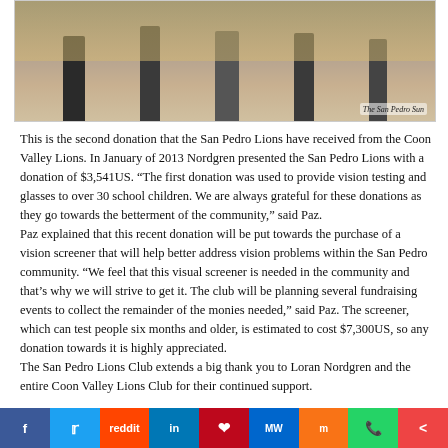[Figure (photo): Group photo of people standing in front of a yellow wall, with The San Pedro Sun logo watermark in the bottom right corner.]
This is the second donation that the San Pedro Lions have received from the Coon Valley Lions. In January of 2013 Nordgren presented the San Pedro Lions with a donation of $3,541US. “The first donation was used to provide vision testing and glasses to over 30 school children. We are always grateful for these donations as they go towards the betterment of the community,” said Paz.
Paz explained that this recent donation will be put towards the purchase of a vision screener that will help better address vision problems within the San Pedro community. “We feel that this visual screener is needed in the community and that’s why we will strive to get it. The club will be planning several fundraising events to collect the remainder of the monies needed,” said Paz. The screener, which can test people six months and older, is estimated to cost $7,300US, so any donation towards it is highly appreciated.
The San Pedro Lions Club extends a big thank you to Loran Nordgren and the entire Coon Valley Lions Club for their continued support.